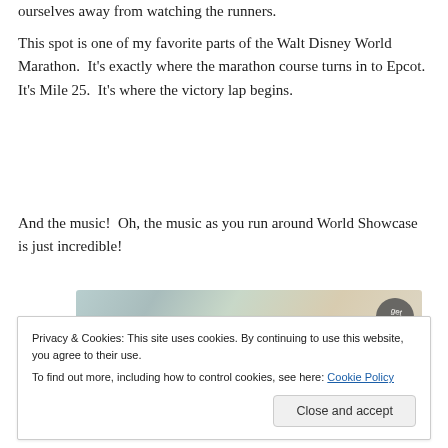ourselves away from watching the runners.
This spot is one of my favorite parts of the Walt Disney World Marathon.  It's exactly where the marathon course turns in to Epcot.  It's Mile 25.  It's where the victory lap begins.
And the music!  Oh, the music as you run around World Showcase is just incredible!
[Figure (other): WordPress VIP advertisement banner with teal/beige gradient background, WordPress VIP logo, and 'Learn more' button]
Privacy & Cookies: This site uses cookies. By continuing to use this website, you agree to their use.
To find out more, including how to control cookies, see here: Cookie Policy
Close and accept